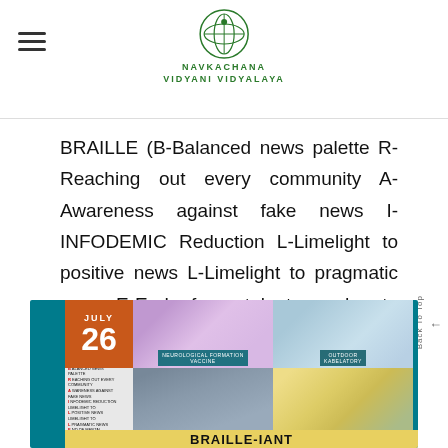NAVKACHANA VIDYANI VIDYALAYA
BRAILLE (B-Balanced news palette R-Reaching out every community A-Awareness against fake news I-INFODEMIC Reduction L-Limelight to positive news L-Limelight to pragmatic news E-End of mental stress due to media).
[Figure (photo): Collage image showing July 26 date tile, photos of hands with glitter, swimming, a person, a child painting, and BRAILLE acronym text card, with BRAILLE-IANT text at bottom on yellow background]